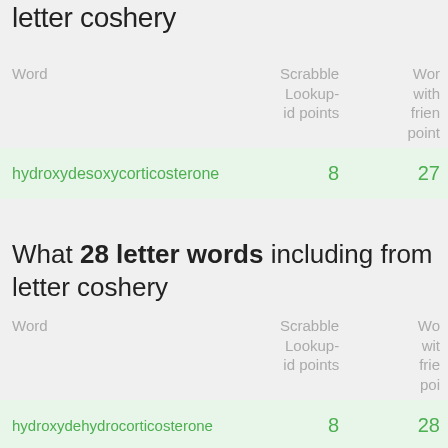letter coshery
| Word | Scrabble Lookup-id points | Words with friends points |
| --- | --- | --- |
| hydroxydesoxycorticosterone | 8 | 27 |
What 28 letter words including from letter coshery
| Word | Scrabble Lookup-id points | Words with friends points |
| --- | --- | --- |
| hydroxydehydrocorticosterone | 8 | 28 |